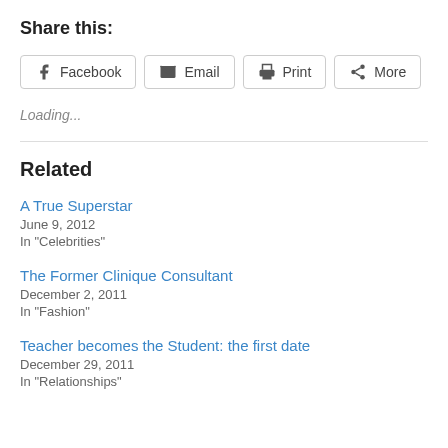Share this:
[Figure (other): Social share buttons: Facebook, Email, Print, More]
Loading...
Related
A True Superstar
June 9, 2012
In "Celebrities"
The Former Clinique Consultant
December 2, 2011
In "Fashion"
Teacher becomes the Student: the first date
December 29, 2011
In "Relationships"